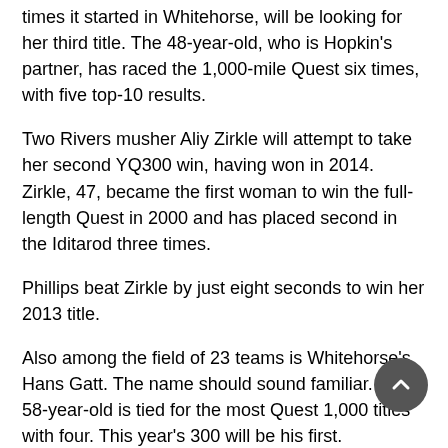times it started in Whitehorse, will be looking for her third title. The 48-year-old, who is Hopkin's partner, has raced the 1,000-mile Quest six times, with five top-10 results.
Two Rivers musher Aliy Zirkle will attempt to take her second YQ300 win, having won in 2014. Zirkle, 47, became the first woman to win the full-length Quest in 2000 and has placed second in the Iditarod three times.
Phillips beat Zirkle by just eight seconds to win her 2013 title.
Also among the field of 23 teams is Whitehorse's Hans Gatt. The name should sound familiar. The 58-year-old is tied for the most Quest 1,000 titles with four. This year's 300 will be his first.